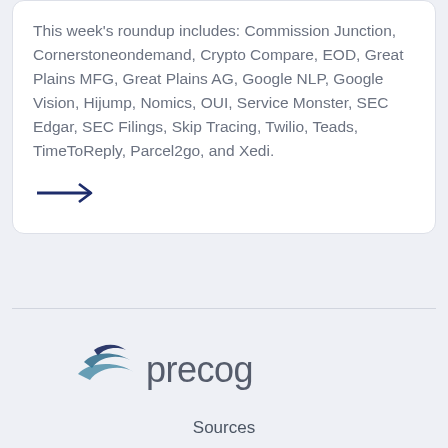This week's roundup includes: Commission Junction, Cornerstoneondemand, Crypto Compare, EOD, Great Plains MFG, Great Plains AG, Google NLP, Google Vision, Hijump, Nomics, OUI, Service Monster, SEC Edgar, SEC Filings, Skip Tracing, Twilio, Teads, TimeToReply, Parcel2go, and Xedi.
[Figure (other): Right-pointing arrow used as a link/navigation element, dark navy blue color]
[Figure (logo): Precog logo — stylized dark teal/navy swoosh icon to the left of the word 'precog' in grey sans-serif text]
Sources